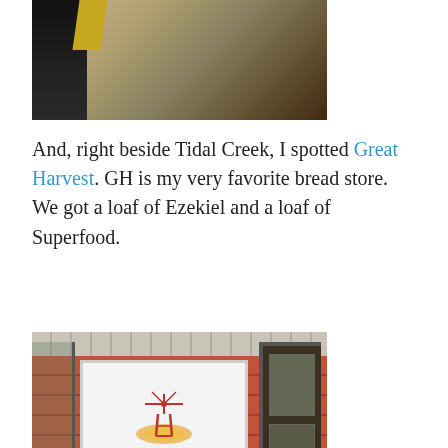[Figure (photo): Partial photo showing a person in dark clothing and a wooden surface, cropped at top of page]
And, right beside Tidal Creek, I spotted Great Harvest. GH is my very favorite bread store. We got a loaf of Ezekiel and a loaf of Superfood.
[Figure (photo): Photo of Great Harvest Bread Co. store exterior showing brick wall, store sign with windmill logo, and glass door]
[Figure (photo): Partial photo at bottom of page, partially cropped]